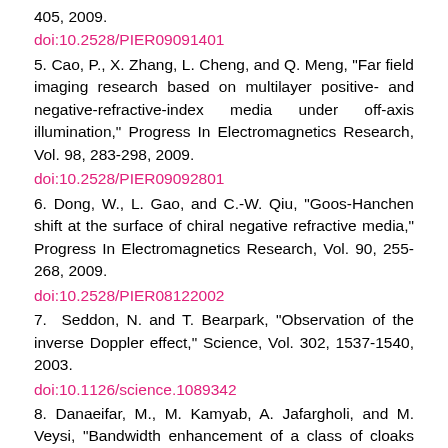405, 2009.
doi:10.2528/PIER09091401
5. Cao, P., X. Zhang, L. Cheng, and Q. Meng, "Far field imaging research based on multilayer positive- and negative-refractive-index media under off-axis illumination," Progress In Electromagnetics Research, Vol. 98, 283-298, 2009.
doi:10.2528/PIER09092801
6. Dong, W., L. Gao, and C.-W. Qiu, "Goos-Hanchen shift at the surface of chiral negative refractive media," Progress In Electromagnetics Research, Vol. 90, 255-268, 2009.
doi:10.2528/PIER08122002
7.  Seddon, N. and T. Bearpark, "Observation of the inverse Doppler effect," Science, Vol. 302, 1537-1540, 2003.
doi:10.1126/science.1089342
8. Danaeifar, M., M. Kamyab, A. Jafargholi, and M. Veysi, "Bandwidth enhancement of a class of cloaks incorporating